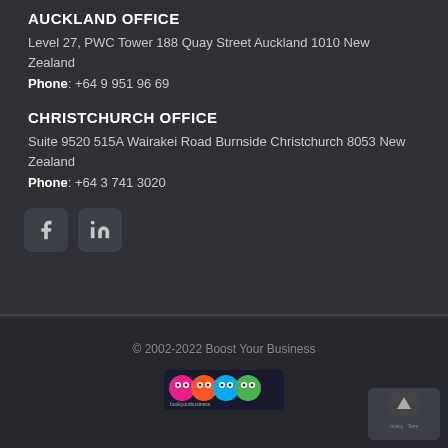AUCKLAND OFFICE
Level 27, PWC Tower 188 Quay Street Auckland 1010 New Zealand
Phone: +64 9 951 96 69
CHRISTCHURCH OFFICE
Suite 9520 515A Wairakei Road Burnside Christchurch 8053 New Zealand
Phone: +64 3 741 3020
[Figure (other): Social media icons: Facebook and LinkedIn buttons with rounded square backgrounds]
© 2002-2022 Boost Your Business
[Figure (logo): Boost Your Business colorful logo with mascots]
[Figure (other): reCAPTCHA privacy badge with up arrow and text Privacy - Terms]